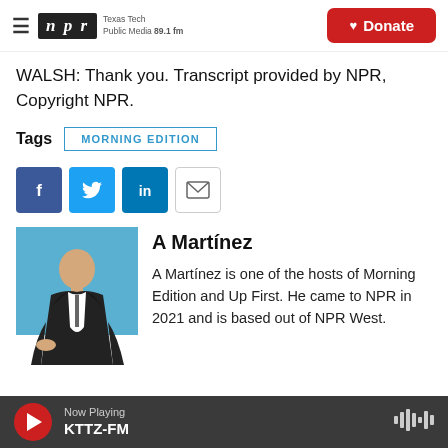NPR Texas Tech Public Media 89.1 fm | Donate
WALSH: Thank you. Transcript provided by NPR, Copyright NPR.
Tags  MORNING EDITION
[Figure (infographic): Social sharing buttons: Facebook (blue), Twitter (blue), LinkedIn (blue), Email (outline)]
[Figure (photo): A Martínez headshot photo - man in dark suit against blue background]
A Martínez
A Martínez is one of the hosts of Morning Edition and Up First. He came to NPR in 2021 and is based out of NPR West.
Now Playing KTTZ-FM